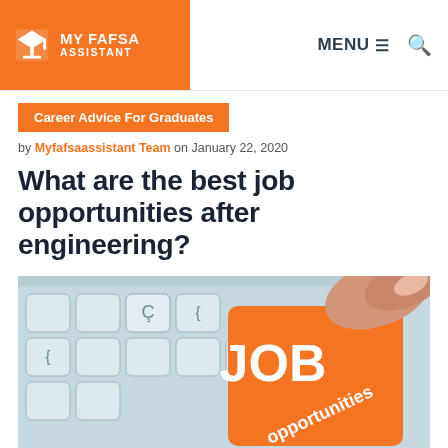MY FAFSA ASSISTANT
Career Advice For Graduates
by Myfafsaassistant Team on January 22, 2020
What are the best job opportunities after engineering?
[Figure (photo): Close-up photo of a keyboard with an orange key labeled 'JOB opportunities' being pressed by a finger]